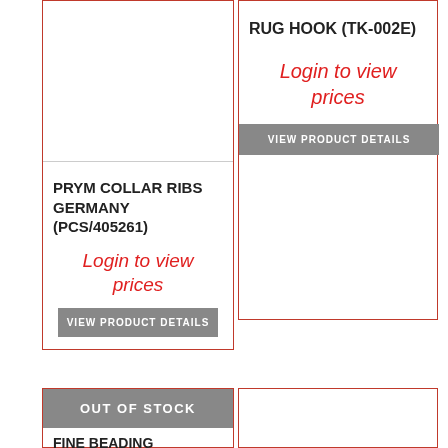[Figure (other): Product card top-left: blank image area for PRYM COLLAR RIBS GERMANY product]
PRYM COLLAR RIBS GERMANY (PCS/405261)
Login to view prices
VIEW PRODUCT DETAILS
RUG HOOK (TK-002E)
Login to view prices
VIEW PRODUCT DETAILS
OUT OF STOCK
FINE BEADING